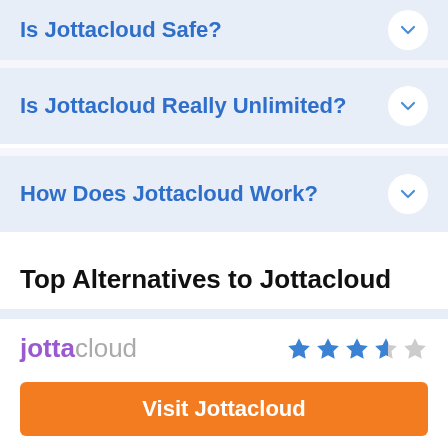Is Jottacloud Safe?
Is Jottacloud Really Unlimited?
How Does Jottacloud Work?
Top Alternatives to Jottacloud
[Figure (logo): Jottacloud logo with purple 'jotta' and grey 'cloud' text, followed by 3.5 star rating]
Visit Jottacloud
1000 GB - Unlimited GB starts from $5.83 / month (All Plans)